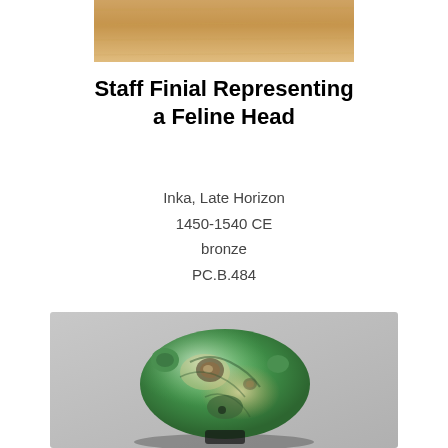[Figure (photo): Close-up photograph of a tan/beige surface, likely the top portion of the staff finial artifact]
Staff Finial Representing a Feline Head
Inka, Late Horizon
1450-1540 CE
bronze
PC.B.484
[Figure (photo): Photograph of a green and cream colored jade or stone carved feline head staff finial, shown against a light gray background]